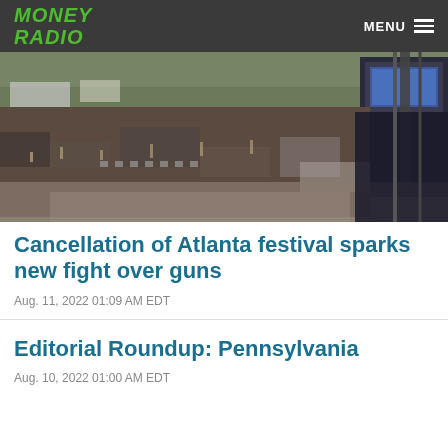MONEY RADIO   MENU
[Figure (photo): Large outdoor music festival crowd with a stage visible on the right and trees in the background]
Cancellation of Atlanta festival sparks new fight over guns
Aug. 11, 2022 01:09 AM EDT
Editorial Roundup: Pennsylvania
Aug. 10, 2022 01:00 AM EDT